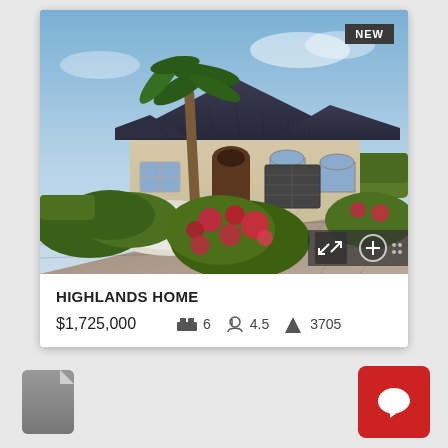[Figure (photo): Exterior photo of a luxury Florida home with palm tree, flowering bushes, paver driveway, and dark metal roof. Badge reading NEW in top right corner.]
HIGHLANDS HOME
$1,725,000   🛏 6   🏠 4.5   📐 3705